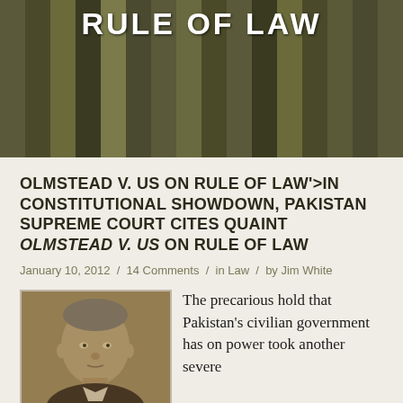[Figure (photo): Header banner with bamboo or wooden pole texture background and white bold text 'RULE OF LAW']
OLMSTEAD V. US ON RULE OF LAW'>IN CONSTITUTIONAL SHOWDOWN, PAKISTAN SUPREME COURT CITES QUAINT OLMSTEAD V. US ON RULE OF LAW
January 10, 2012 / 14 Comments / in Law / by Jim White
[Figure (photo): Sepia-toned portrait photograph of an older man with gray hair, formal attire, historical photo style]
The precarious hold that Pakistan's civilian government has on power took another severe